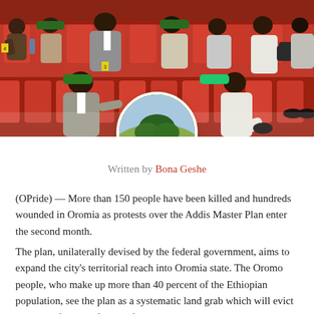[Figure (photo): Banner photo showing a group of people seated in red chairs at an event, with green caps/badges visible. Overlaid is a circular avatar image showing a tree in a landscape (profile photo of author Bona Geshe).]
Written by Bona Geshe
(OPride) — More than 150 people have been killed and hundreds wounded in Oromia as protests over the Addis Master Plan enter the second month.
The plan, unilaterally devised by the federal government, aims to expand the city's territorial reach into Oromia state. The Oromo people, who make up more than 40 percent of the Ethiopian population, see the plan as a systematic land grab which will evict millions of Oromo farmers from their ancestral land.